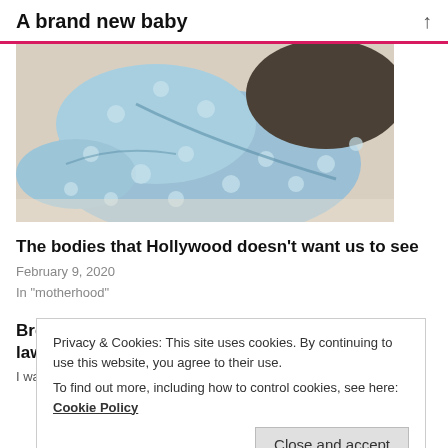A brand new baby
[Figure (photo): Photograph of a newborn baby in a light blue polka-dot outfit, lying on a white surface, viewed from behind/side.]
The bodies that Hollywood doesn't want us to see
February 9, 2020
In "motherhood"
Breastfeeding, the restaurant controversy and the law
I wasn't going to write about breastfeeding. At least, not on my
Privacy & Cookies: This site uses cookies. By continuing to use this website, you agree to their use.
To find out more, including how to control cookies, see here: Cookie Policy
Close and accept